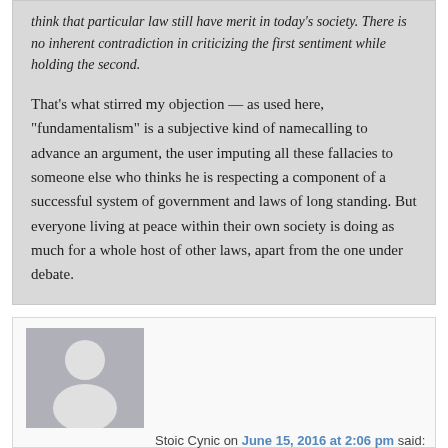think that particular law still have merit in today's society. There is no inherent contradiction in criticizing the first sentiment while holding the second.
That's what stirred my objection — as used here, "fundamentalism" is a subjective kind of namecalling to advance an argument, the user imputing all these fallacies to someone else who thinks he is respecting a component of a successful system of government and laws of long standing. But everyone living at peace within their own society is doing as much for a whole host of other laws, apart from the one under debate.
[Figure (illustration): Generic user avatar placeholder image — grey background with a white silhouette of a person]
Stoic Cynic on June 15, 2016 at 2:06 pm said: